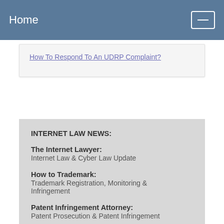Home
How To Respond To An UDRP Complaint?
INTERNET LAW NEWS:
The Internet Lawyer: Internet Law & Cyber Law Update
How to Trademark: Trademark Registration, Monitoring & Infringement
Patent Infringement Attorney: Patent Prosecution & Patent Infringement